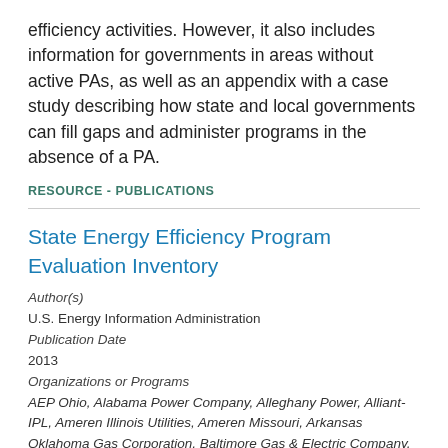efficiency activities. However, it also includes information for governments in areas without active PAs, as well as an appendix with a case study describing how state and local governments can fill gaps and administer programs in the absence of a PA.
RESOURCE - PUBLICATIONS
State Energy Efficiency Program Evaluation Inventory
Author(s)
U.S. Energy Information Administration
Publication Date
2013
Organizations or Programs
AEP Ohio, Alabama Power Company, Alleghany Power, Alliant-IPL, Ameren Illinois Utilities, Ameren Missouri, Arkansas Oklahoma Gas Corporation, Baltimore Gas & Electric Company, Black Hills Energy, Board of Public Utilities, Bonneville Power Administration, Centerpoint Energy Arkansas Gas, Commonwealth Edison Company (ComED), Consumers Energy Company, Connecticut Energy